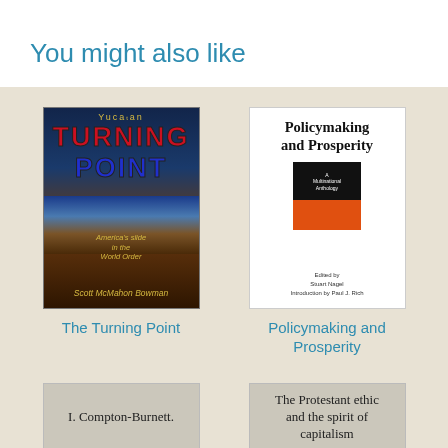You might also like
[Figure (illustration): Book cover for 'The Turning Point' by Scott McMahon Bowman - dark cover with American flag and earth imagery]
The Turning Point
[Figure (illustration): Book cover for 'Policymaking and Prosperity' - white cover with title text and inner book graphic, orange and black design, edited by Stuart Nagel, Introduction by Paul J. Rich]
Policymaking and Prosperity
[Figure (illustration): Partially visible book cover placeholder with text 'I. Compton-Burnett.']
[Figure (illustration): Partially visible book cover placeholder with text 'The Protestant ethic and the spirit of capitalism']